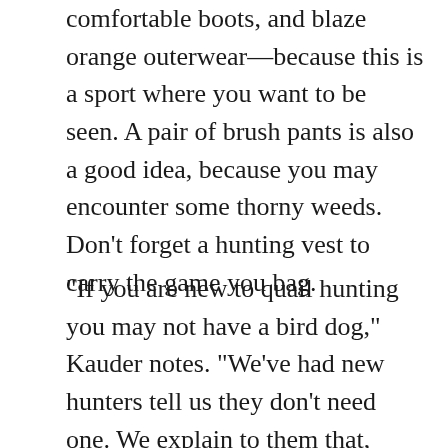comfortable boots, and blaze orange outerwear—because this is a sport where you want to be seen. A pair of brush pants is also a good idea, because you may encounter some thorny weeds. Don't forget a hunting vest to carry the game you bag.
“If you are new to quail hunting you may not have a bird dog,” Kauder notes. “We’ve had new hunters tell us they don’t need one. We explain to them that, when you’re hunting in a 20–30-acre field, it’s difficult to find birds